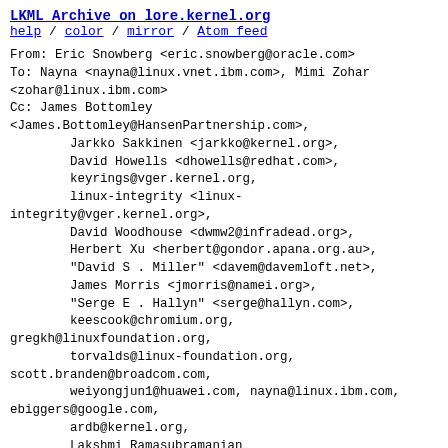LKML Archive on lore.kernel.org
help / color / mirror / Atom feed
From: Eric Snowberg <eric.snowberg@oracle.com>
To: Nayna <nayna@linux.vnet.ibm.com>, Mimi Zohar <zohar@linux.ibm.com>
Cc: James Bottomley <James.Bottomley@HansenPartnership.com>,
        Jarkko Sakkinen <jarkko@kernel.org>,
        David Howells <dhowells@redhat.com>,
        keyrings@vger.kernel.org,
        linux-integrity <linux-integrity@vger.kernel.org>,
        David Woodhouse <dwmw2@infradead.org>,
        Herbert Xu <herbert@gondor.apana.org.au>,
        "David S . Miller" <davem@davemloft.net>,
        James Morris <jmorris@namei.org>,
        "Serge E . Hallyn" <serge@hallyn.com>,
        keescook@chromium.org,
gregkh@linuxfoundation.org,
        torvalds@linux-foundation.org,
scott.branden@broadcom.com,
        weiyongjun1@huawei.com, nayna@linux.ibm.com,
ebiggers@google.com,
        ardb@kernel.org,
        Lakshmi Ramasubramanian <nramas@linux.microsoft.com>,
        lszubowi@redhat.com, linux-kernel@vger.kernel.org,
        linux.crypto@vger.kernel.org,